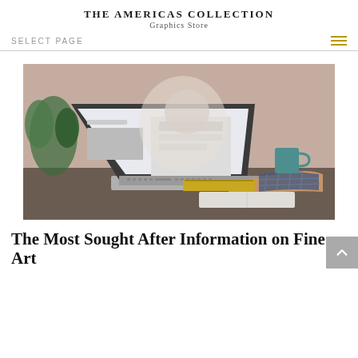THE AMERICAS COLLECTION
Graphics Store
SELECT PAGE
[Figure (photo): Person in a plaid/checkered shirt typing on a laptop at a desk, with a teal mug, yellow book, and plant visible in the background. Soft bokeh lighting.]
The Most Sought After Information on Fine Art